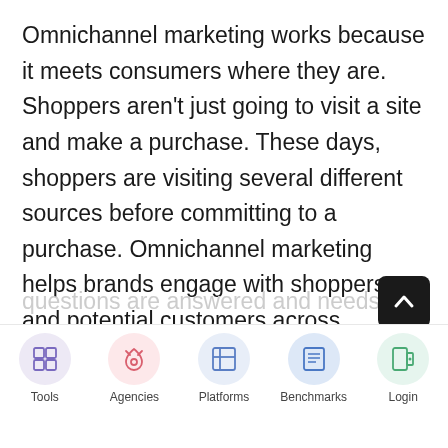Omnichannel marketing works because it meets consumers where they are. Shoppers aren't just going to visit a site and make a purchase. These days, shoppers are visiting several different sources before committing to a purchase. Omnichannel marketing helps brands engage with shoppers and potential customers across different marketing channels and platforms. Through this cross-channel engagement, brands can ensure that questions are answered and needs are met.
[Figure (other): Bottom navigation bar with five icon buttons: Tools (grid icon, purple circle), Agencies (rocket icon, pink circle), Platforms (layout icon, blue circle), Benchmarks (newspaper icon, blue circle), Login (door icon, green circle). A dark scroll-to-top button is visible at bottom right.]